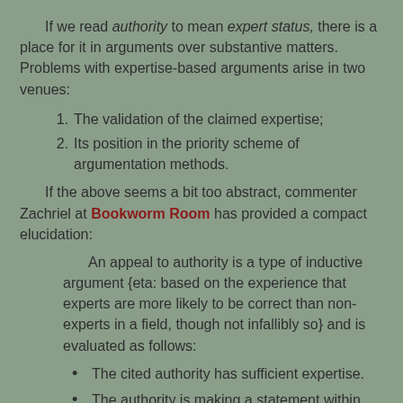If we read authority to mean expert status, there is a place for it in arguments over substantive matters. Problems with expertise-based arguments arise in two venues:
1. The validation of the claimed expertise;
2. Its position in the priority scheme of argumentation methods.
If the above seems a bit too abstract, commenter Zachriel at Bookworm Room has provided a compact elucidation:
An appeal to authority is a type of inductive argument {eta: based on the experience that experts are more likely to be correct than non-experts in a field, though not infallibly so} and is evaluated as follows:
The cited authority has sufficient expertise.
The authority is making a statement within their area of expertise.
The area of expertise is a valid field of